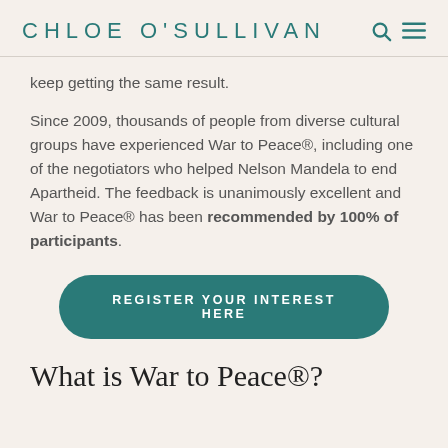CHLOE O'SULLIVAN
keep getting the same result.
Since 2009, thousands of people from diverse cultural groups have experienced War to Peace®, including one of the negotiators who helped Nelson Mandela to end Apartheid. The feedback is unanimously excellent and War to Peace® has been recommended by 100% of participants.
[Figure (other): Button: REGISTER YOUR INTEREST HERE]
What is War to Peace®?